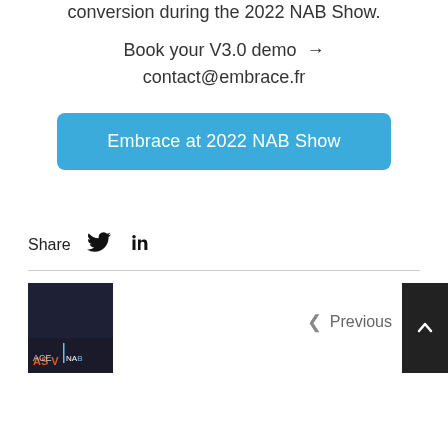conversion during the 2022 NAB Show.
Book your V3.0 demo → contact@embrace.fr
[Figure (other): Blue rounded button with white text reading 'Embrace at 2022 NAB Show']
Share
[Figure (other): Twitter bird icon]
[Figure (other): LinkedIn 'in' icon]
[Figure (photo): Dark thumbnail image showing Las Vegas / NAB signage]
< Previous
[Figure (other): Dark square button with upward chevron arrow]